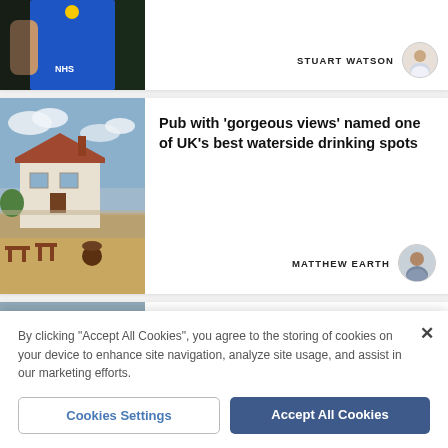[Figure (photo): Partial view of a footballer in a blue NHS-branded jersey]
STUART WATSON
[Figure (photo): Outdoor pub with tables and a sandy/gravel area, waterside setting]
Pub with 'gorgeous views' named one of UK's best waterside drinking spots
MATTHEW EARTH
[Figure (photo): Town centre street with flooded road after heavy rain]
Town centre road closed after becoming flooded in torrential rain
By clicking "Accept All Cookies", you agree to the storing of cookies on your device to enhance site navigation, analyze site usage, and assist in our marketing efforts.
Cookies Settings
Accept All Cookies